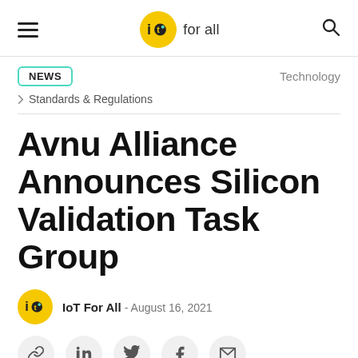IoT For All
NEWS | Technology | > Standards & Regulations
Avnu Alliance Announces Silicon Validation Task Group
IoT For All - August 16, 2021
[Figure (other): Social share icons: link, LinkedIn, Twitter, Facebook, Email]